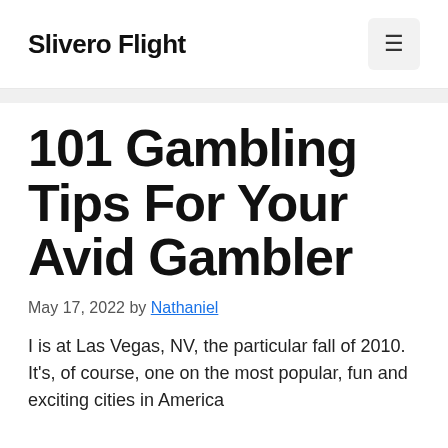Slivero Flight
101 Gambling Tips For Your Avid Gambler
May 17, 2022 by Nathaniel
I is at Las Vegas, NV, the particular fall of 2010. It’s, of course, one on the most popular, fun and exciting cities in America